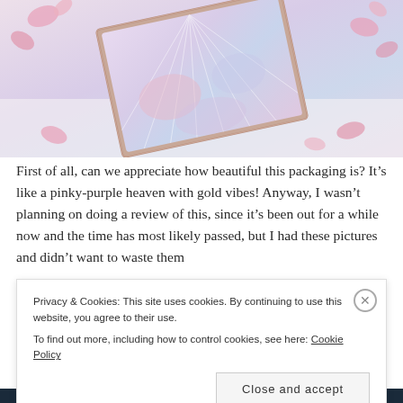[Figure (photo): A makeup palette with iridescent pinky-purple and gold packaging, tilted at an angle on a white surface with pink flower petals scattered around it.]
First of all, can we appreciate how beautiful this packaging is? It's like a pinky-purple heaven with gold vibes! Anyway, I wasn't planning on doing a review of this, since it's been out for a while now and the time has most likely passed, but I had these pictures and didn't want to waste them
Privacy & Cookies: This site uses cookies. By continuing to use this website, you agree to their use.
To find out more, including how to control cookies, see here: Cookie Policy
Close and accept